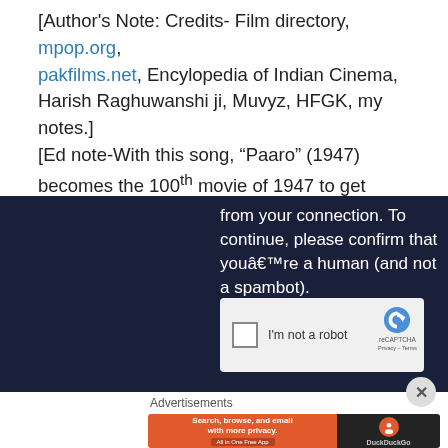[Author's Note: Credits- Film directory, mpop.org, pakfilms.net, Encylopedia of Indian Cinema, Harish Raghuwanshi ji, Muvyz, HFGK, my notes.]
[Ed note-With this song, “Paaro” (1947) becomes the 100th movie of 1947 to get represented in the blog]
[Figure (screenshot): Dark blue CAPTCHA verification overlay with text 'from your connection. To continue, please confirm that youâ€™re a human (and not a spambot).' and a reCAPTCHA 'I'm not a robot' checkbox widget]
Advertisements
[Figure (screenshot): DuckDuckGo advertisement banner: orange section with 'Search, browse, and email with more privacy. All in One Free App' and dark section with DuckDuckGo logo]